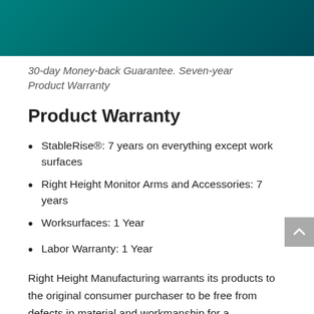[Figure (illustration): Teal/dark teal gradient header banner across the top of the page]
30-day Money-back Guarantee. Seven-year Product Warranty
Product Warranty
StableRise®: 7 years on everything except work surfaces
Right Height Monitor Arms and Accessories: 7 years
Worksurfaces: 1 Year
Labor Warranty: 1 Year
Right Height Manufacturing warrants its products to the original consumer purchaser to be free from defects in material and workmanship for a